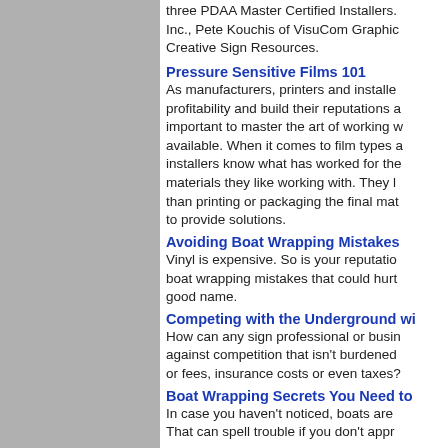three PDAA Master Certified Installers. Inc., Pete Kouchis of VisuCom Graphic Creative Sign Resources.
Pressure Sensitive Films 101
As manufacturers, printers and installers profitability and build their reputations a important to master the art of working w available. When it comes to film types a installers know what has worked for the materials they like working with. They l than printing or packaging the final mat to provide solutions.
Avoiding Boat Wrapping Mistakes
Vinyl is expensive. So is your reputatio boat wrapping mistakes that could hurt good name.
Competing with the Underground wi
How can any sign professional or busin against competition that isn't burdened or fees, insurance costs or even taxes?
Boat Wrapping Secrets You Need to
In case you haven't noticed, boats are That can spell trouble if you don't appr